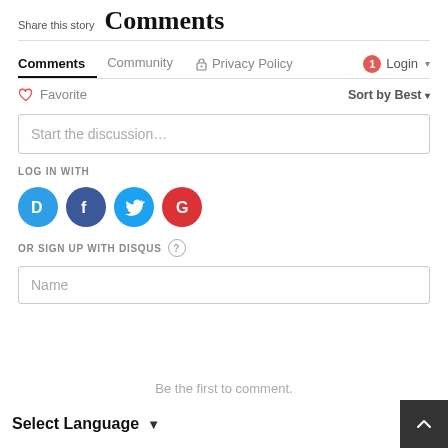Share this story  Comments
Comments  Community  Privacy Policy  Login
Favorite  Sort by Best
Start the discussion…
LOG IN WITH
[Figure (infographic): Social login icons: Disqus (blue), Facebook (dark blue), Twitter (light blue), Google (red)]
OR SIGN UP WITH DISQUS ?
Name
Be the first to comment.
Select Language ▼